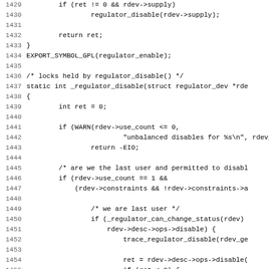Source code listing lines 1429-1460, C language kernel regulator driver code